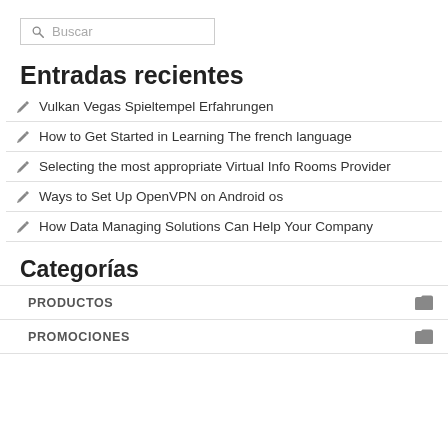Buscar
Entradas recientes
Vulkan Vegas Spieltempel Erfahrungen
How to Get Started in Learning The french language
Selecting the most appropriate Virtual Info Rooms Provider
Ways to Set Up OpenVPN on Android os
How Data Managing Solutions Can Help Your Company
Categorías
PRODUCTOS
PROMOCIONES